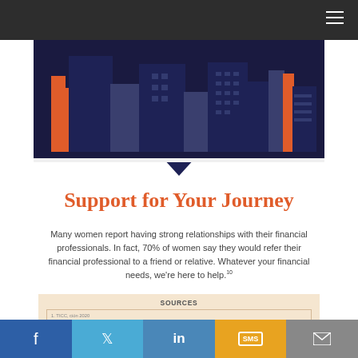[Figure (illustration): City skyline illustration with dark navy blue buildings, orange accent building on left, on a dark navy background with a speech bubble pointer at the bottom center.]
Support for Your Journey
Many women report having strong relationships with their financial professionals. In fact, 70% of women say they would refer their financial professional to a friend or relative. Whatever your financial needs, we're here to help.10
SOURCES
1. TICC, ción 2020
2. SNA, jun 2020
3. Insurance.com, 2019 (datos correspondence conditions)
4. Putnam.com, 2019